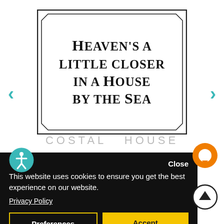[Figure (illustration): Book cover with decorative octagonal border frame showing title text: HEAVEN'S A LITTLE CLOSER IN A HOUSE BY THE SEA]
HEAVEN'S A LITTLE CLOSER IN A HOUSE BY THE SEA
COSTAL  HOUSE
Close
This website uses cookies to ensure you get the best experience on our website.
Privacy Policy
Preferences
Accept